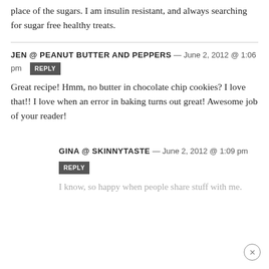place of the sugars. I am insulin resistant, and always searching for sugar free healthy treats.
JEN @ PEANUT BUTTER AND PEPPERS — June 2, 2012 @ 1:06 pm REPLY
Great recipe! Hmm, no butter in chocolate chip cookies? I love that!! I love when an error in baking turns out great! Awesome job of your reader!
GINA @ SKINNYTASTE — June 2, 2012 @ 1:09 pm REPLY
I know, so happy when people share stuff with me.